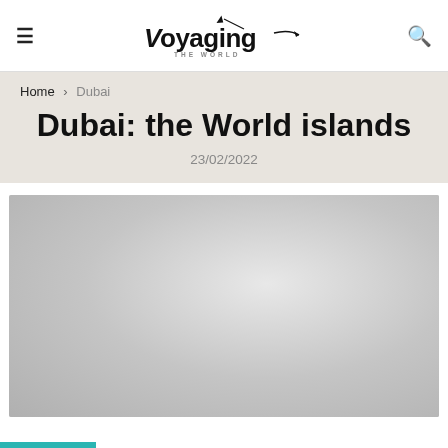Voyaging THE WORLD
Home > Dubai
Dubai: the World islands
23/02/2022
[Figure (photo): Large photo area showing the World Islands of Dubai — blurred/placeholder image in light grey tones]